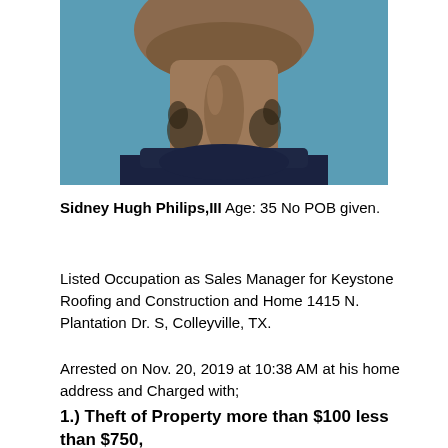[Figure (photo): Mugshot photo showing the neck and lower face of a man with tattoos on his neck, wearing a dark blue shirt, against a blue-green background.]
Sidney Hugh Philips,III Age: 35 No POB given.
Listed Occupation as Sales Manager for Keystone Roofing and Construction and Home 1415 N. Plantation Dr. S, Colleyville, TX.
Arrested on Nov. 20, 2019 at 10:38 AM at his home address and Charged with;
1.) Theft of Property more than $100 less than $750,